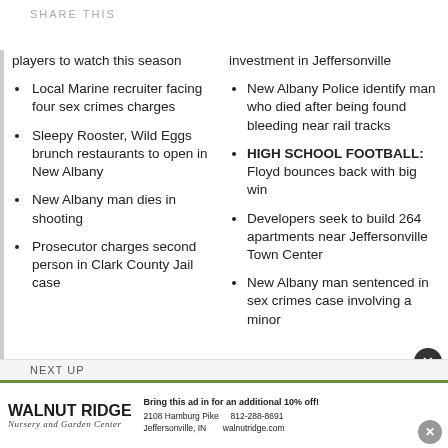SHARE THIS
players to watch this season
Local Marine recruiter facing four sex crimes charges
Sleepy Rooster, Wild Eggs brunch restaurants to open in New Albany
New Albany man dies in shooting
Prosecutor charges second person in Clark County Jail case
investment in Jeffersonville
New Albany Police identify man who died after being found bleeding near rail tracks
HIGH SCHOOL FOOTBALL: Floyd bounces back with big win
Developers seek to build 264 apartments near Jeffersonville Town Center
New Albany man sentenced in sex crimes case involving a minor
NEXT UP
WALNUT RIDGE Nursery and Garden Center — Bring this ad in for an additional 10% off! 2108 Hamburg Pike, Jeffersonville, IN | 812-288-8691 | walnutridge.com